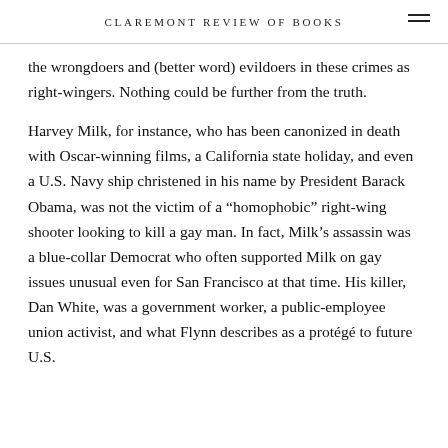CLAREMONT REVIEW OF BOOKS
the wrongdoers and (better word) evildoers in these crimes as right-wingers. Nothing could be further from the truth.
Harvey Milk, for instance, who has been canonized in death with Oscar-winning films, a California state holiday, and even a U.S. Navy ship christened in his name by President Barack Obama, was not the victim of a “homophobic” right-wing shooter looking to kill a gay man. In fact, Milk’s assassin was a blue-collar Democrat who often supported Milk on gay issues unusual even for San Francisco at that time. His killer, Dan White, was a government worker, a public-employee union activist, and what Flynn describes as a protégé to future U.S.